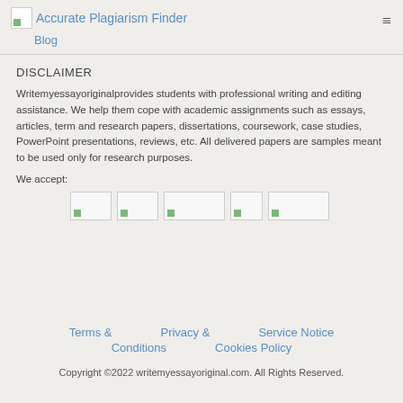Accurate Plagiarism Finder  Blog
DISCLAIMER
Writemyessayoriginalprovides students with professional writing and editing assistance. We help them cope with academic assignments such as essays, articles, term and research papers, dissertations, coursework, case studies, PowerPoint presentations, reviews, etc. All delivered papers are samples meant to be used only for research purposes.
We accept:
[Figure (other): Five payment method icons displayed in a row]
Terms & Conditions   Privacy & Cookies Policy   Service Notice
Copyright ©2022 writemyessayoriginal.com. All Rights Reserved.